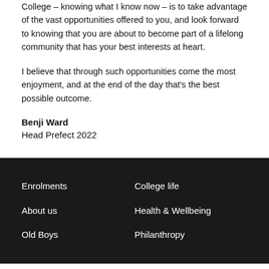College – knowing what I know now – is to take advantage of the vast opportunities offered to you, and look forward to knowing that you are about to become part of a lifelong community that has your best interests at heart.
I believe that through such opportunities come the most enjoyment, and at the end of the day that's the best possible outcome.
Benji Ward
Head Prefect 2022
Enrolments
College life
About us
Health & Wellbeing
Old Boys
Philanthropy